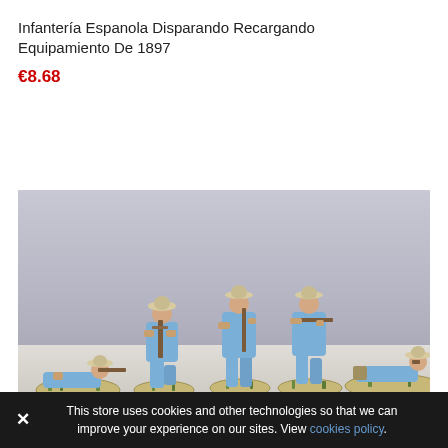Infantería Espanola Disparando Recargando Equipamiento De 1897
€8.68
[Figure (photo): Six painted miniature figures of Spanish infantry soldiers in blue uniforms and wide-brim hats, posed in various firing and advancing positions on scenic bases with grass tufts]
This store uses cookies and other technologies so that we can improve your experience on our sites. View cookies policy.